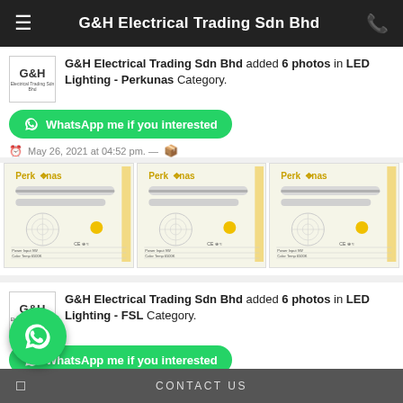G&H Electrical Trading Sdn Bhd
G&H Electrical Trading Sdn Bhd added 6 photos in LED Lighting - Perkunas Category.
WhatsApp me if you interested
May 26, 2021 at 04:52 pm.
[Figure (photo): Three Perkunas LED T8 glass tube product specification sheets shown side by side]
G&H Electrical Trading Sdn Bhd added 6 photos in LED Lighting - FSL Category.
WhatsApp me if you interested
Mar 14, 2021 at 04:23 pm.
CONTACT US